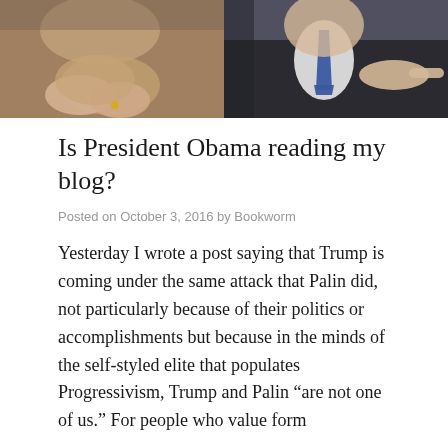[Figure (photo): Two people photographed close-up; left side shows a woman with hands clasped, right side shows a man in a suit with blue tie pointing finger]
Is President Obama reading my blog?
Posted on October 3, 2016 by Bookworm
Yesterday I wrote a post saying that Trump is coming under the same attack that Palin did, not particularly because of their politics or accomplishments but because in the minds of the self-styled elite that populates Progressivism, Trump and Palin “are not one of us.” For people who value form
Continue reading
5 Comments